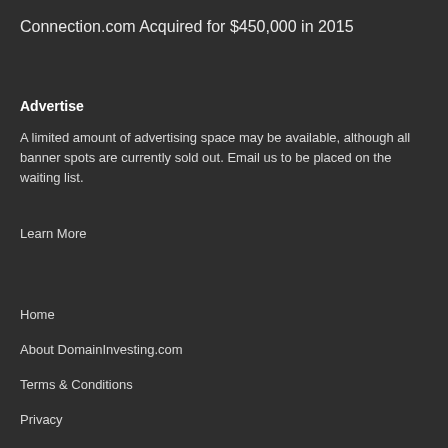Connection.com Acquired for $450,000 in 2015
Advertise
A limited amount of advertising space may be available, although all banner spots are currently sold out. Email us to be placed on the waiting list.
Learn More
Home
About DomainInvesting.com
Terms & Conditions
Privacy
Contact